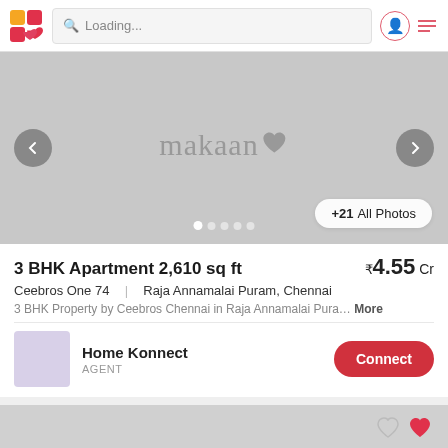Loading...
[Figure (screenshot): Property listing image placeholder with makaan.com watermark, navigation arrows, dot indicators, and '+21 All Photos' button]
3 BHK Apartment 2,610 sq ft  ₹4.55 Cr
Ceebros One 74  |  Raja Annamalai Puram, Chennai
3 BHK Property by Ceebros Chennai in Raja Annamalai Pura… More
Home Konnect
AGENT
[Figure (photo): Second property listing image preview at bottom, partially visible, with heart/favorite icons]